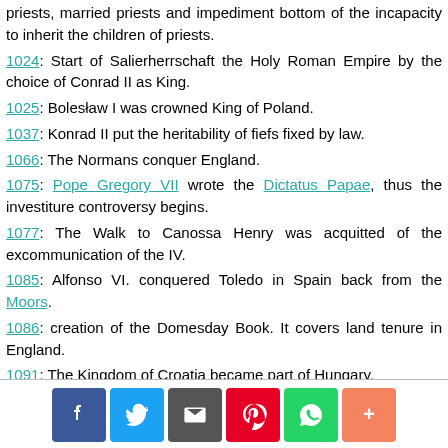priests, married priests and impediment bottom of the incapacity to inherit the children of priests.
1024: Start of Salierherrschaft the Holy Roman Empire by the choice of Conrad II as King.
1025: Bolesław I was crowned King of Poland.
1037: Konrad II put the heritability of fiefs fixed by law.
1066: The Normans conquer England.
1075: Pope Gregory VII wrote the Dictatus Papae, thus the investiture controversy begins.
1077: The Walk to Canossa Henry was acquitted of the excommunication of the IV.
1085: Alfonso VI. conquered Toledo in Spain back from the Moors.
1086: creation of the Domesday Book. It covers land tenure in England.
1091: The Kingdom of Croatia became part of Hungary.
1095: Pope Urban II called for the First Crusade.
Asia
[Figure (infographic): Social media sharing bar with icons for Facebook, Twitter, Email, Pinterest, WhatsApp, and More (+)]